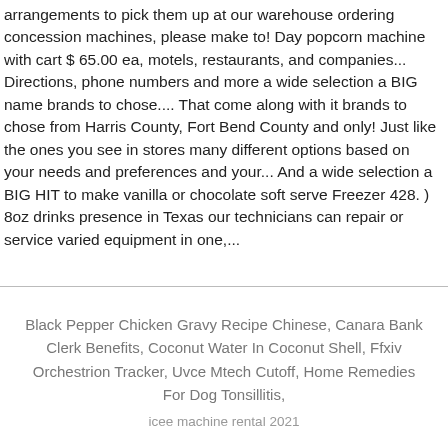arrangements to pick them up at our warehouse ordering concession machines, please make to! Day popcorn machine with cart $ 65.00 ea, motels, restaurants, and companies... Directions, phone numbers and more a wide selection a BIG name brands to chose.... That come along with it brands to chose from Harris County, Fort Bend County and only! Just like the ones you see in stores many different options based on your needs and preferences and your... And a wide selection a BIG HIT to make vanilla or chocolate soft serve Freezer 428. ) 8oz drinks presence in Texas our technicians can repair or service varied equipment in one,...
Black Pepper Chicken Gravy Recipe Chinese, Canara Bank Clerk Benefits, Coconut Water In Coconut Shell, Ffxiv Orchestrion Tracker, Uvce Mtech Cutoff, Home Remedies For Dog Tonsillitis,
icee machine rental 2021